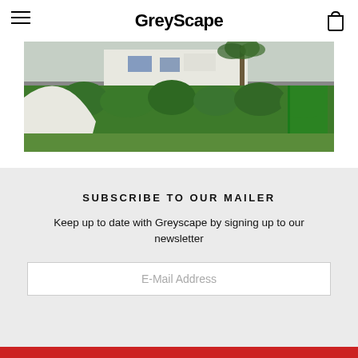GreyScape
[Figure (photo): Outdoor photo showing a white curved architectural wall in the foreground, lush green hedges and tropical plants, and white residential buildings with blue shutters in the background.]
SUBSCRIBE TO OUR MAILER
Keep up to date with Greyscape by signing up to our newsletter
E-Mail Address